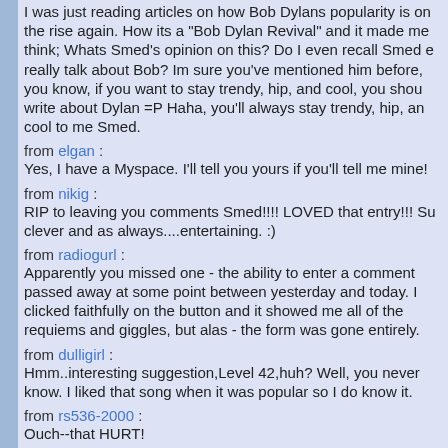I was just reading articles on how Bob Dylans popularity is on the rise again. How its a "Bob Dylan Revival" and it made me think; Whats Smed's opinion on this? Do I even recall Smed ever really talk about Bob? Im sure you've mentioned him before, but you know, if you want to stay trendy, hip, and cool, you should write about Dylan =P Haha, you'll always stay trendy, hip, and cool to me Smed.
from elgan : Yes, I have a Myspace. I'll tell you yours if you'll tell me mine!
from nikig : RIP to leaving you comments Smed!!!! LOVED that entry!!! So clever and as always....entertaining. :)
from radiogurl : Apparently you missed one - the ability to enter a comment passed away at some point between yesterday and today. I clicked faithfully on the button and it showed me all of the requiems and giggles, but alas - the form was gone entirely.
from dulligirl : Hmm..interesting suggestion,Level 42,huh? Well, you never know. I liked that song when it was popular so I do know it.
from rs536-2000 : Ouch--that HURT!
from scotvalkyrie : No, Diana Canova did not strip, but she sang a really good s